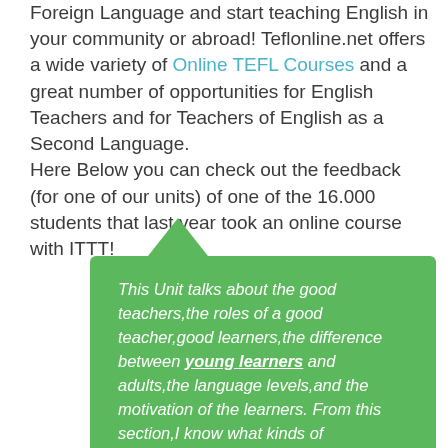Foreign Language and start teaching English in your community or abroad! Teflonline.net offers a wide variety of Online TEFL Courses and a great number of opportunities for English Teachers and for Teachers of English as a Second Language. Here Below you can check out the feedback (for one of our units) of one of the 16.000 students that last year took an online course with ITTT!
This Unit talks about the good teachers,the roles of a good teacher,good learners,the difference between young learners and adults,the language levels,and the motivation of the learners. From this section,I know what kinds of characteristics that a good teacher should have for example a good